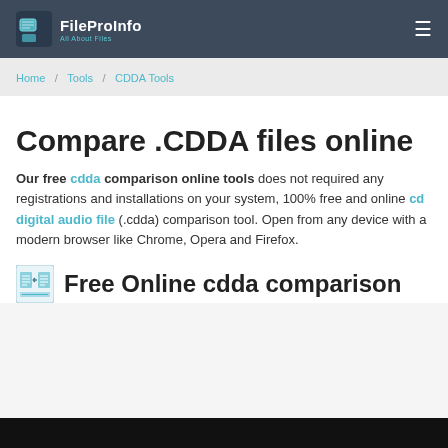FileProInfo — All About Files
Home / Tools / CDDA Tools
Compare .CDDA files online
Our free cdda comparison online tools does not required any registrations and installations on your system, 100% free and online cd digital audio file (.cdda) comparison tool. Open from any device with a modern browser like Chrome, Opera and Firefox.
Free Online cdda comparison